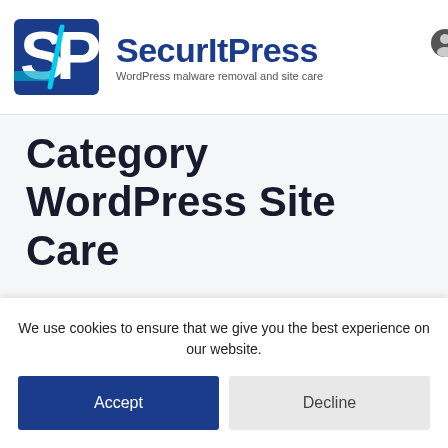[Figure (logo): SecurItPress logo with SP monogram in blue and teal, brand name 'SecurItPress' in dark blue, tagline 'WordPress malware removal and site care']
Category WordPress Site Care
We use cookies to ensure that we give you the best experience on our website.
Accept
Decline